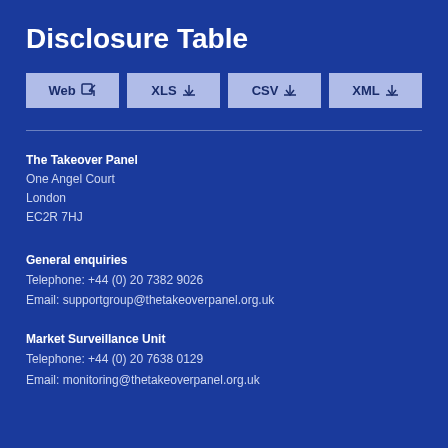Disclosure Table
[Figure (screenshot): Four download buttons: Web (with arrow icon), XLS (with download icon), CSV (with download icon), XML (with download icon)]
The Takeover Panel
One Angel Court
London
EC2R 7HJ
General enquiries
Telephone: +44 (0) 20 7382 9026
Email: supportgroup@thetakeoverpanel.org.uk
Market Surveillance Unit
Telephone: +44 (0) 20 7638 0129
Email: monitoring@thetakeoverpanel.org.uk